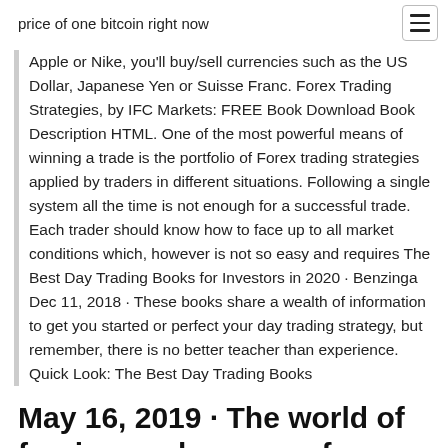price of one bitcoin right now
Apple or Nike, you'll buy/sell currencies such as the US Dollar, Japanese Yen or Suisse Franc. Forex Trading Strategies, by IFC Markets: FREE Book Download Book Description HTML. One of the most powerful means of winning a trade is the portfolio of Forex trading strategies applied by traders in different situations. Following a single system all the time is not enough for a successful trade. Each trader should know how to face up to all market conditions which, however is not so easy and requires The Best Day Trading Books for Investors in 2020 • Benzinga Dec 11, 2018 · These books share a wealth of information to get you started or perfect your day trading strategy, but remember, there is no better teacher than experience. Quick Look: The Best Day Trading Books
May 16, 2019 · The world of foreign exchange, or forex, can be daunting even to